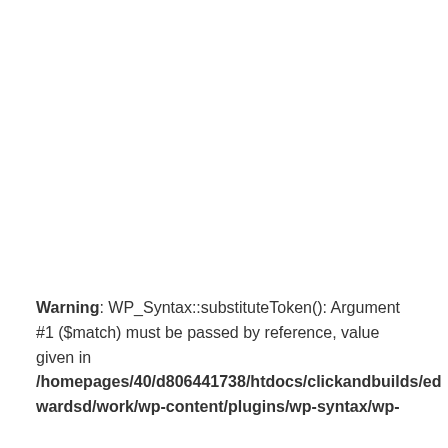Warning: WP_Syntax::substituteToken(): Argument #1 ($match) must be passed by reference, value given in /homepages/40/d806441738/htdocs/clickandbuilds/edwardsd/work/wp-content/plugins/wp-syntax/wp-